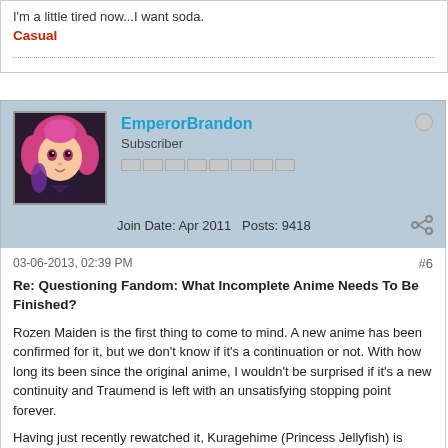I'm a little tired now...I want soda.
Casual
EmperorBrandon
Subscriber
Join Date: Apr 2011   Posts: 9418
03-06-2013, 02:39 PM
#6
Re: Questioning Fandom: What Incomplete Anime Needs To Be Finished?
Rozen Maiden is the first thing to come to mind. A new anime has been confirmed for it, but we don't know if it's a continuation or not. With how long its been since the original anime, I wouldn't be surprised if it's a new continuity and Traumend is left with an unsatisfying stopping point forever.
Having just recently rewatched it, Kuragehime (Princess Jellyfish) is another that comes to mind. In some regards, it's a fine stopping point, but in other regards it's not, particularly with how they seem to Spoiler ->